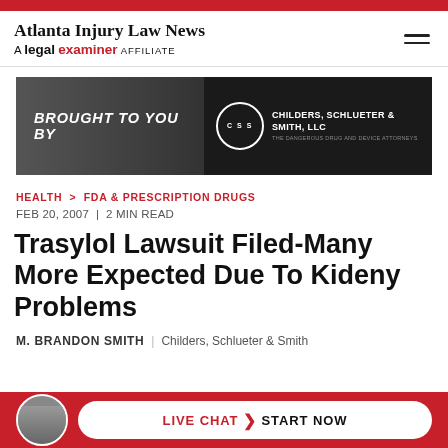Atlanta Injury Law News — A legal examiner AFFILIATE
[Figure (photo): Banner ad: black and white cityscape background with text 'BROUGHT TO YOU BY' on the left and Childers, Schlueter & Smith, LLC logo on the right on dark background]
HEALTH > FDA & PRESCRIPTION DRUGS
FEB 20, 2007 | 2 MIN READ
Trasylol Lawsuit Filed-Many More Expected Due To Kideny Problems
M. BRANDON SMITH | Childers, Schlueter & Smith
[Figure (infographic): Red bottom bar with circular avatar photo of attorneys, and a white pill-shaped button reading LIVE CHAT > START NOW]